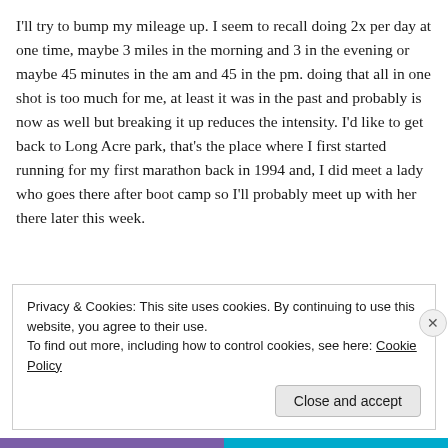I'll try to bump my mileage up.  I seem to recall doing 2x per day at one time, maybe 3 miles in the morning and 3 in the evening or maybe 45 minutes in the am and 45 in the pm.  doing that all in one shot is too much for me, at least it was in the past and probably is now as well  but breaking it up reduces the intensity.  I'd like to get back to Long Acre park, that's the place where I first started running for my first marathon back in 1994 and, I did meet a lady who goes there after boot camp so I'll probably meet up with her there later this week.
Privacy & Cookies: This site uses cookies. By continuing to use this website, you agree to their use.
To find out more, including how to control cookies, see here: Cookie Policy